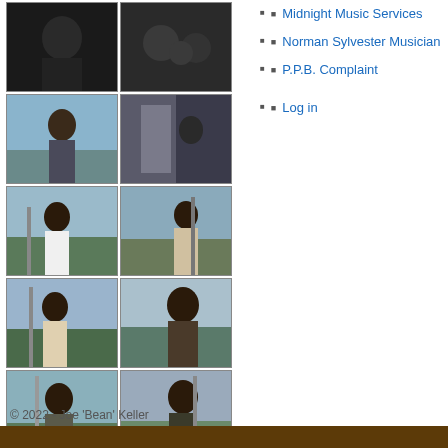[Figure (photo): Grid of music performance photographs showing musicians performing outdoors and indoors]
Midnight Music Services
Norman Sylvester Musician
P.P.B. Complaint
Log in
© 2022 - Joe 'Bean' Keller